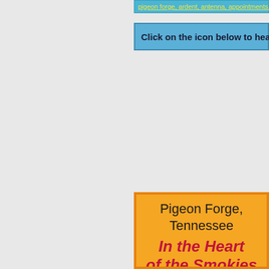pigeon forge, ardent, antenna, appointments, cabin...
Click on the icon below to hear our '
Pigeon Forge, Tennessee
In the Heart of the Smokies
(865) 679-9376
E-Mail
tncabins2@gmail.com
2 1/2 miles from Dollywood!!!!